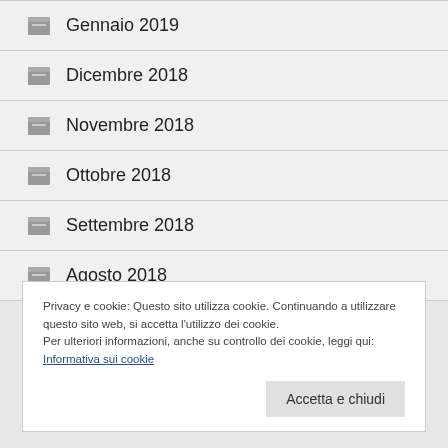Gennaio 2019
Dicembre 2018
Novembre 2018
Ottobre 2018
Settembre 2018
Agosto 2018
Privacy e cookie: Questo sito utilizza cookie. Continuando a utilizzare questo sito web, si accetta l'utilizzo dei cookie.
Per ulteriori informazioni, anche su controllo dei cookie, leggi qui:
Informativa sui cookie
Accetta e chiudi